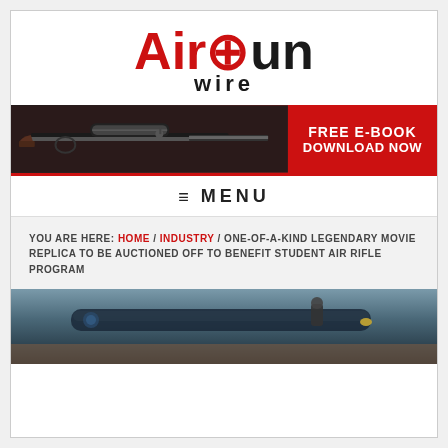[Figure (logo): Airgun Wire website logo — 'Airgun' in large bold text with 'Air' in red and 'gun' in dark/black, a crosshair symbol replacing the 'g' dot, and 'wire' in smaller black bold letters below]
[Figure (infographic): Banner ad with photo of airgun on left dark background and red panel on right reading 'FREE E-BOOK DOWNLOAD NOW']
≡ MENU
YOU ARE HERE: HOME / INDUSTRY / ONE-OF-A-KIND LEGENDARY MOVIE REPLICA TO BE AUCTIONED OFF TO BENEFIT STUDENT AIR RIFLE PROGRAM
[Figure (photo): Close-up photo of an airgun/rifle with scope on wooden surface, bottom portion visible]